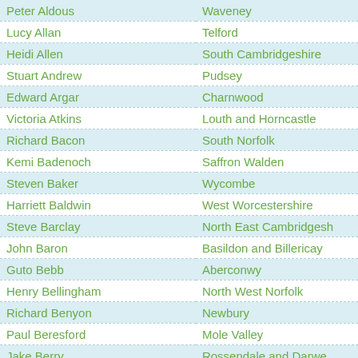| Name | Constituency |
| --- | --- |
| Peter Aldous | Waveney |
| Lucy Allan | Telford |
| Heidi Allen | South Cambridgeshire |
| Stuart Andrew | Pudsey |
| Edward Argar | Charnwood |
| Victoria Atkins | Louth and Horncastle |
| Richard Bacon | South Norfolk |
| Kemi Badenoch | Saffron Walden |
| Steven Baker | Wycombe |
| Harriett Baldwin | West Worcestershire |
| Steve Barclay | North East Cambridgeshire |
| John Baron | Basildon and Billericay |
| Guto Bebb | Aberconwy |
| Henry Bellingham | North West Norfolk |
| Richard Benyon | Newbury |
| Paul Beresford | Mole Valley |
| Jake Berry | Rossendale and Darwen |
| Bob Blackman | Harrow East |